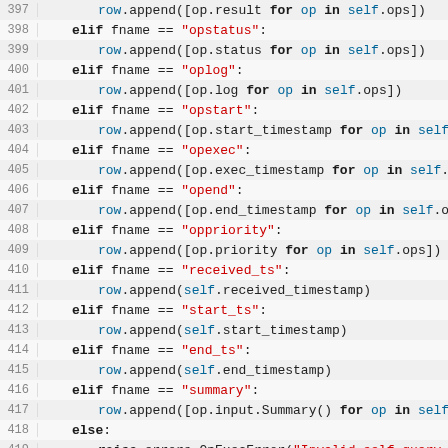[Figure (screenshot): Python source code editor showing lines 397-422 of a file with syntax highlighting. Code includes elif/else branches checking fname variable against string values like opstatus, oplog, opstart, opexec, opend, oppriority, received_ts, start_ts, end_ts, summary, then an else clause raising an error, a return statement, and the start of a def MarkUnfinishedOps method.]